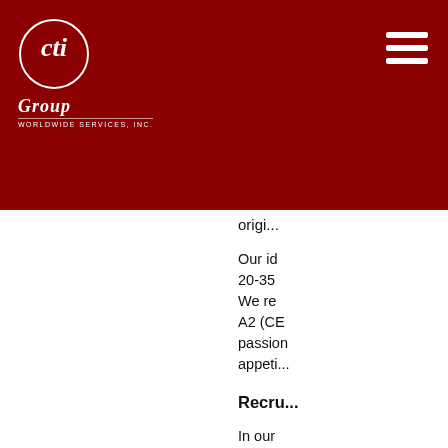CTi Group Worldwide Services, Inc. header with logo and navigation
origi...
Our id... 20-35 ... We re... A2 (CE... passion... appeti...
Recru...
In our... candic... institu...